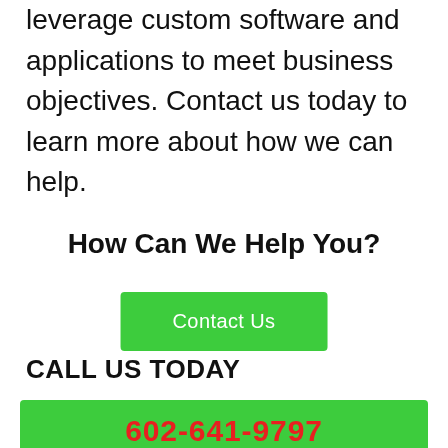leverage custom software and applications to meet business objectives. Contact us today to learn more about how we can help.
How Can We Help You?
[Figure (other): Green 'Contact Us' button]
CALL US TODAY
[Figure (other): Green button with phone number 602-641-9797 in red text]